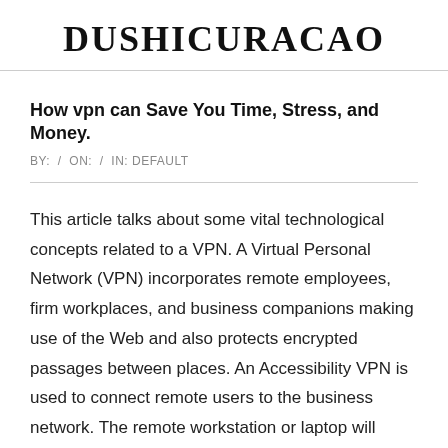DUSHICURACAO
How vpn can Save You Time, Stress, and Money.
BY:  /  ON:  /  IN: DEFAULT
This article talks about some vital technological concepts related to a VPN. A Virtual Personal Network (VPN) incorporates remote employees, firm workplaces, and business companions making use of the Web and also protects encrypted passages between places. An Accessibility VPN is used to connect remote users to the business network. The remote workstation or laptop will certainly use an accessibility circuit such as Cable.